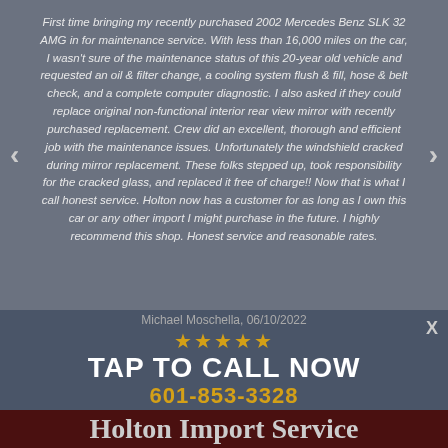First time bringing my recently purchased 2002 Mercedes Benz SLK 32 AMG in for maintenance service. With less than 16,000 miles on the car, I wasn't sure of the maintenance status of this 20-year old vehicle and requested an oil & filter change, a cooling system flush & fill, hose & belt check, and a complete computer diagnostic. I also asked if they could replace original non-functional interior rear view mirror with recently purchased replacement. Crew did an excellent, thorough and efficient job with the maintenance issues. Unfortunately the windshield cracked during mirror replacement. These folks stepped up, took responsibility for the cracked glass, and replaced it free of charge!! Now that is what I call honest service. Holton now has a customer for as long as I own this car or any other import I might purchase in the future. I highly recommend this shop. Honest service and reasonable rates.
Michael Moschella, 06/10/2022
★★★★★
TAP TO CALL NOW
601-853-3328
Holton Import Service